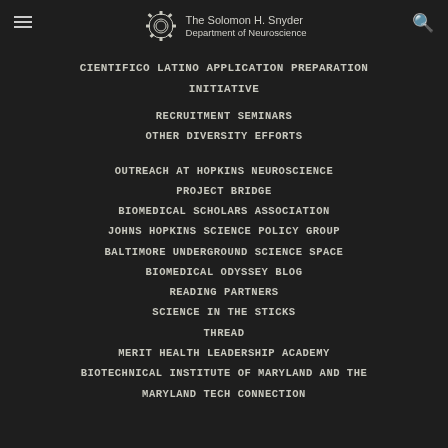The Solomon H. Snyder Department of Neuroscience
CIENTIFICO LATINO APPLICATION PREPARATION INITIATIVE
RECRUITMENT SEMINARS
OTHER DIVERSITY EFFORTS
OUTREACH AT HOPKINS NEUROSCIENCE
PROJECT BRIDGE
BIOMEDICAL SCHOLARS ASSOCIATION
JOHNS HOPKINS SCIENCE POLICY GROUP
BALTIMORE UNDERGROUND SCIENCE SPACE
BIOMEDICAL ODYSSEY BLOG
READING PARTNERS
SCIENCE IN THE STICKS
THREAD
MERIT HEALTH LEADERSHIP ACADEMY
BIOTECHNICAL INSTITUTE OF MARYLAND AND THE MARYLAND TECH CONNECTION